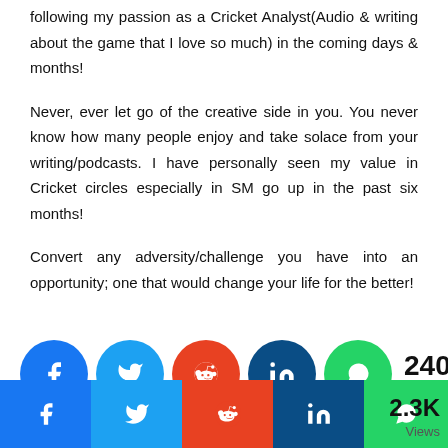following my passion as a Cricket Analyst(Audio & writing about the game that I love so much) in the coming days & months!
Never, ever let go of the creative side in you. You never know how many people enjoy and take solace from your writing/podcasts. I have personally seen my value in Cricket circles especially in SM go up in the past six months!
Convert any adversity/challenge you have into an opportunity; one that would change your life for the better!
[Figure (infographic): Social share buttons row: Facebook (blue circle), Twitter (light blue circle), Reddit (orange circle), LinkedIn (dark blue circle), WhatsApp (green circle), share count 240 Shares, scroll-to-top button (blue circle with caret), message button (green circle with chat icon)]
Facebook | Twitter | Reddit | LinkedIn | WhatsApp | 2.3K Views